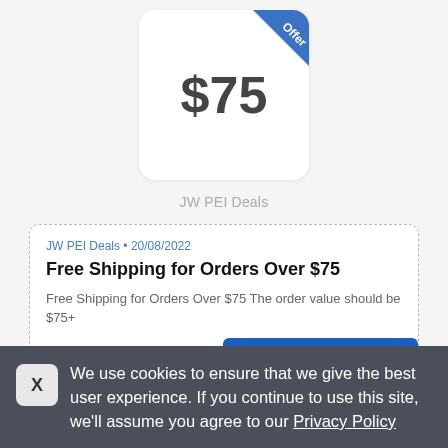[Figure (other): Offer card showing $75 with a blue diagonal ribbon in the top-right corner labeled 'Offer']
JW PEI Deals
JW PEI Deals • 20/08/2022
Free Shipping for Orders Over $75
Free Shipping for Orders Over $75 The order value should be $75+
We use cookies to ensure that we give the best user experience. If you continue to use this site, we'll assume you agree to our Privacy Policy